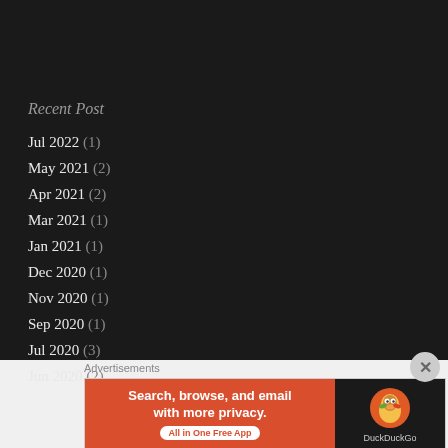Recent Post
Jul 2022 (1)
May 2021 (2)
Apr 2021 (2)
Mar 2021 (1)
Jan 2021 (1)
Dec 2020 (1)
Nov 2020 (1)
Sep 2020 (1)
Jul 2020 (3)
Jun 2020 (2)
Advertisements
[Figure (screenshot): DuckDuckGo advertisement banner: 'Search, browse, and email with more privacy. All in One Free App' with DuckDuckGo logo on dark background]